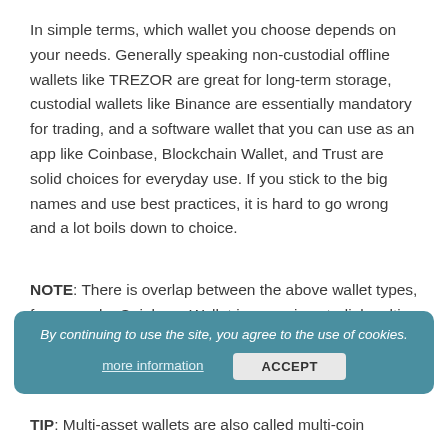In simple terms, which wallet you choose depends on your needs. Generally speaking non-custodial offline wallets like TREZOR are great for long-term storage, custodial wallets like Binance are essentially mandatory for trading, and a software wallet that you can use as an app like Coinbase, Blockchain Wallet, and Trust are solid choices for everyday use. If you stick to the big names and use best practices, it is hard to go wrong and a lot boils down to choice.
NOTE: There is overlap between the above wallet types, for example, Coinbase Wallet is a semi-custodial multi-asset software wallet with an Ether...
TIP: Multi-asset wallets are also called multi-coin